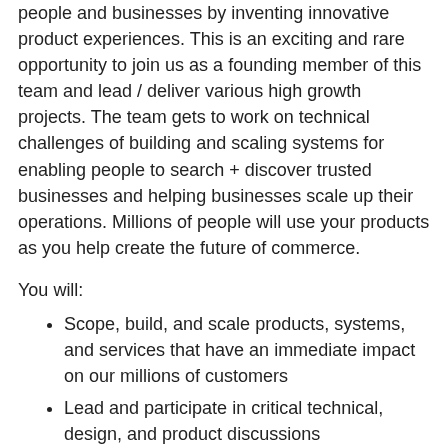people and businesses by inventing innovative product experiences. This is an exciting and rare opportunity to join us as a founding member of this team and lead / deliver various high growth projects. The team gets to work on technical challenges of building and scaling systems for enabling people to search + discover trusted businesses and helping businesses scale up their operations. Millions of people will use your products as you help create the future of commerce.
You will:
Scope, build, and scale products, systems, and services that have an immediate impact on our millions of customers
Lead and participate in critical technical, design, and product discussions
Participate in all parts of product development, working with non-Engineering related disciplines (Product and Design) and adjacent Engineering teams (Mobile, Platform, Machine Learning, and Data Science)
Qualifications
You have: